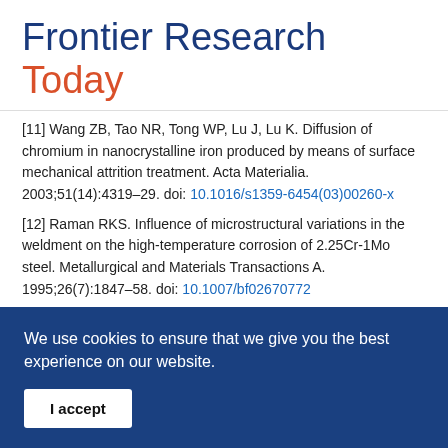Frontier Research Today
[11] Wang ZB, Tao NR, Tong WP, Lu J, Lu K. Diffusion of chromium in nanocrystalline iron produced by means of surface mechanical attrition treatment. Acta Materialia. 2003;51(14):4319–29. doi: 10.1016/s1359-6454(03)00260-x
[12] Raman RKS. Influence of microstructural variations in the weldment on the high-temperature corrosion of 2.25Cr-1Mo steel. Metallurgical and Materials Transactions A. 1995;26(7):1847–58. doi: 10.1007/bf02670772
[13] Raman RKS. Role of microstructural degradation in the heat-affected zone of 2.25Cr-1Mo steel weldments on subscale features during steam oxidation and their role in
We use cookies to ensure that we give you the best experience on our website.
I accept